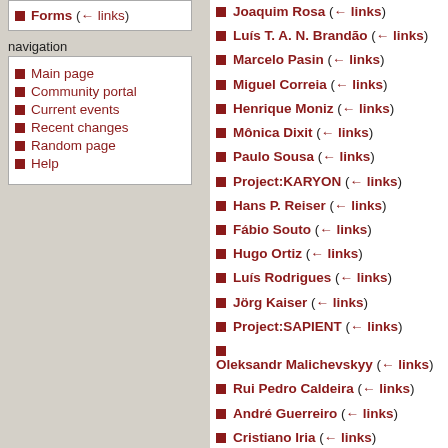Forms (← links)
navigation
Main page
Community portal
Current events
Recent changes
Random page
Help
Joaquim Rosa (← links)
Luís T. A. N. Brandão (← links)
Marcelo Pasin (← links)
Miguel Correia (← links)
Henrique Moniz (← links)
Mônica Dixit (← links)
Paulo Sousa (← links)
Project:KARYON (← links)
Hans P. Reiser (← links)
Fábio Souto (← links)
Hugo Ortiz (← links)
Luís Rodrigues (← links)
Jörg Kaiser (← links)
Project:SAPIENT (← links)
Oleksandr Malichevskyy (← links)
Rui Pedro Caldeira (← links)
André Guerreiro (← links)
Cristiano Iria (← links)
Emanuel Alves (← links)